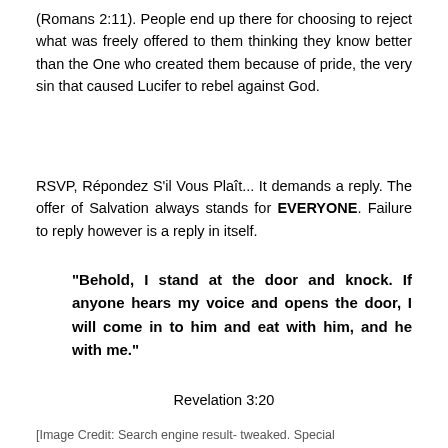(Romans 2:11). People end up there for choosing to reject what was freely offered to them thinking they know better than the One who created them because of pride, the very sin that caused Lucifer to rebel against God.
RSVP, Répondez S'il Vous Plaît... It demands a reply. The offer of Salvation always stands for EVERYONE. Failure to reply however is a reply in itself.
“Behold, I stand at the door and knock. If anyone hears my voice and opens the door, I will come in to him and eat with him, and he with me.”
Revelation 3:20
[Image Credit: Search engine result- tweaked. Special